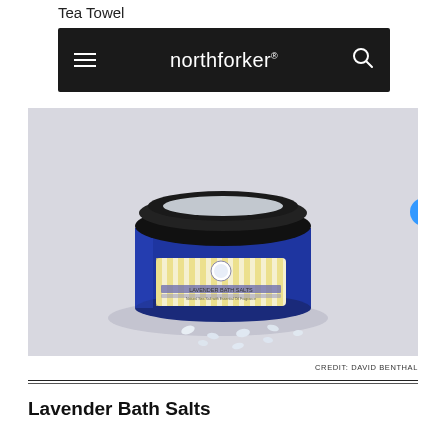Tea Towel
[Figure (screenshot): Northforker website navigation bar with hamburger menu, northforker logo, and search icon on black background]
[Figure (photo): A blue glass jar of Lavender Bath Salts with a black lid, yellow-striped label, and scattered white salt crystals on a light background. Accessibility icon visible on the right.]
CREDIT: DAVID BENTHAL
Lavender Bath Salts